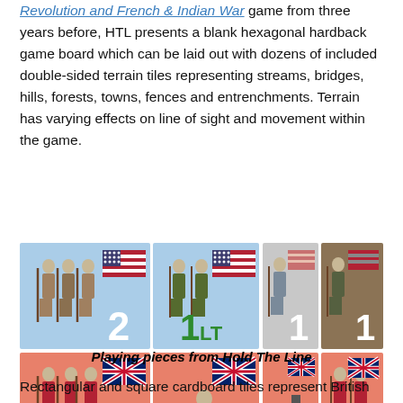Revolution and French & Indian War game from three years before, HTL presents a blank hexagonal hardback game board which can be laid out with dozens of included double-sided terrain tiles representing streams, bridges, hills, forests, towns, fences and entrenchments. Terrain has varying effects on line of sight and movement within the game.
[Figure (illustration): Game playing pieces from Hold The Line board game showing American and British unit tiles. Top row: blue American infantry tile with value 2 and US flag, blue American light infantry tile with value 1 LT and US flag, grey American infantry tile with value 1 and flag, brown American infantry tile with value 1 and striped flag. Bottom row: orange British infantry tile with value 4E and Union Jack, orange British cavalry tile with value 2/1 and Union Jack, orange British artillery tile with value 2 and Union Jack, orange British infantry tile with value 3 and Union Jack.]
Playing pieces from Hold The Line
Rectangular and square cardboard tiles represent British